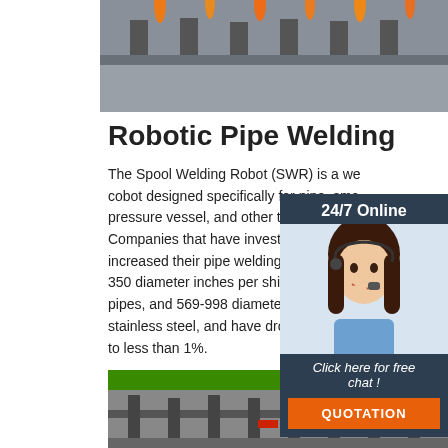[Figure (photo): Top photo of robotic welding equipment interior showing orange welding elements against a dark background]
Robotic Pipe Welding
The Spool Welding Robot (SWR) is a we cobot designed specifically for pipe, sma pressure vessel, and other types of roll w Companies that have invested in the SW increased their pipe welding productivity 350 diameter inches per shift on carbon pipes, and 569-998 diameter inches per stainless steel, and have dropped their r to less than 1%.
[Figure (photo): Sidebar with 24/7 Online support agent photo and chat/quotation buttons]
[Figure (other): Green Get Price button]
[Figure (photo): Bottom photo of robotic welding machinery in a factory setting]